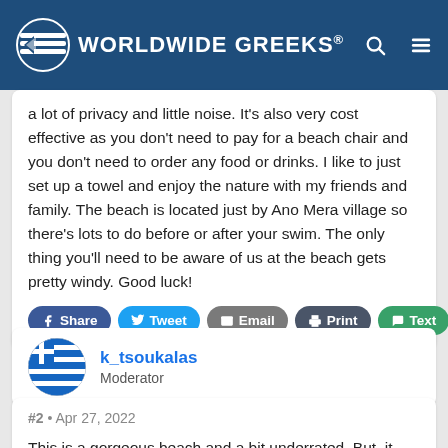Worldwide Greeks
a lot of privacy and little noise. It's also very cost effective as you don't need to pay for a beach chair and you don't need to order any food or drinks. I like to just set up a towel and enjoy the nature with my friends and family. The beach is located just by Ano Mera village so there's lots to do before or after your swim. The only thing you'll need to be aware of us at the beach gets pretty windy. Good luck!
Share Tweet Email Print Text
k_tsoukalas
Moderator
#2 • Apr 27, 2022
This is a gorgeous beach and a bit underrated. But, it makes for a really nice, relaxing beach day. Most people in the know know that it'll serve you well...